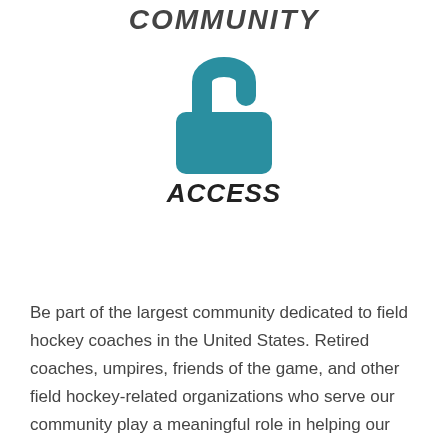COMMUNITY
[Figure (illustration): Teal/blue open padlock icon centered on the page]
ACCESS
Be part of the largest community dedicated to field hockey coaches in the United States. Retired coaches, umpires, friends of the game, and other field hockey-related organizations who serve our community play a meaningful role in helping our